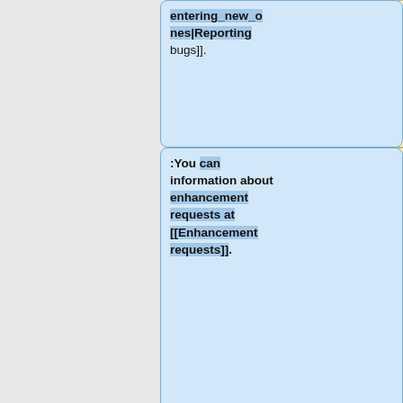Smart Way]; and
entering_new_ones|Reporting bugs]].
:* [https://www.chiark.greenend.org.uk/~sgtatham/bugs.html How to Report Bugs Effectively].
:You can information about enhancement requests at [[Enhancement requests]].
::You should eventually read at least one of them to avoid common mistakes.
::But always keep in mind that the authors